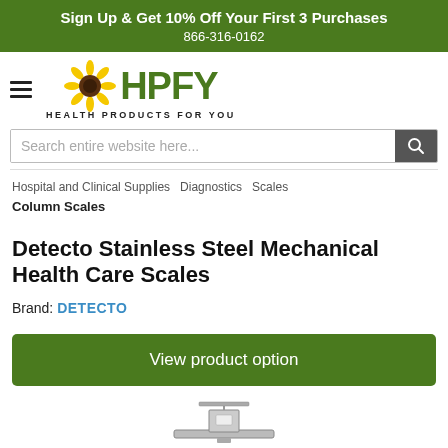Sign Up & Get 10% Off Your First 3 Purchases
866-316-0162
[Figure (logo): HPFY Health Products For You logo with sunflower icon]
Search entire website here...
Hospital and Clinical Supplies  Diagnostics  Scales
Column Scales
Detecto Stainless Steel Mechanical Health Care Scales
Brand: DETECTO
View product option
[Figure (photo): Partial view of a Detecto stainless steel mechanical health care scale]